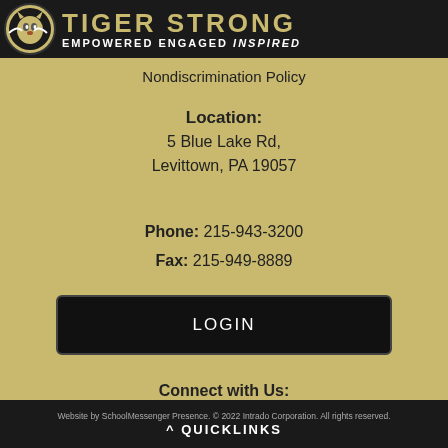[Figure (logo): Tiger Strong school logo with black banner — TIGER STRONG, EMPOWERED ENGAGED INSPIRED]
Nondiscrimination Policy
Location:
5 Blue Lake Rd,
Levittown, PA 19057
Phone: 215-943-3200
Fax: 215-949-8889
LOGIN
Connect with Us:
[Figure (infographic): Five social media icon buttons: share (green), Facebook (blue), Twitter (light blue), Instagram (black), Email (grey)]
Website by SchoolMessenger Presence. © 2022 Intrado Corporation. All rights reserved.
^ QUICKLINKS